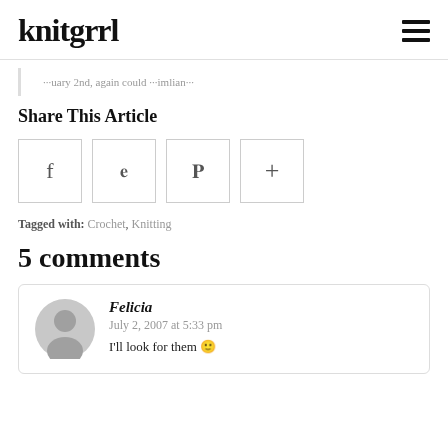knitgrrl
… …uary 2nd, again could …imlian…
Share This Article
[Figure (infographic): Four social share buttons: Facebook (f), Twitter (bird), Pinterest (p), and a plus (+) button, each in a square border]
Tagged with: Crochet, Knitting
5 comments
Felicia
July 2, 2007 at 5:33 pm
I'll look for them 🙂